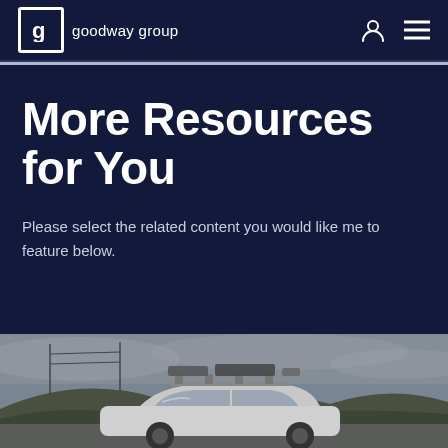goodway group
More Resources for You
Please select the related content you would like me to feature below.
[Figure (photo): Grayscale photo of a car with roof rack carrying equipment, driving through a hilly landscape with overcast sky.]